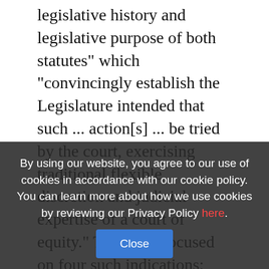legislative history and legislative purpose of both statutes" which "convincingly establish the Legislature intended that such ... action[s] ... be tried by the court, exercising traditional flexible discretion and judicial expertise of a court of equity." The court focused on four such indications: First, both the UCL and the FAL originally only provided for injunctive relief (later expanded to include civil penalties and other equitable relief, such as restitution). Second, their substantive standards are equitable in nature, as they require a determination of whether commercial conduct was "unfair," "fraudulent," "untrue" or "misleading." Third, the provisions governing civil penalties expressly authorize courts to shall determine the amount of civil penalties. Fourth, in doing so, "the court shall consider any one or more of the relevant circumstances presented by any of the parties to the case, including, but not limited to,
By using our website, you agree to our use of cookies in accordance with our cookie policy. You can learn more about how we use cookies by reviewing our Privacy Policy here.